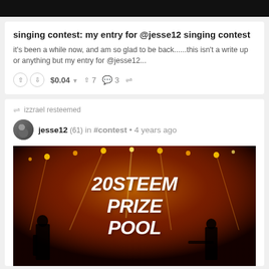[Figure (screenshot): Black banner image at top]
singing contest: my entry for @jesse12 singing contest
it's been a while now, and am so glad to be back......this isn't a write up or anything but my entry for @jesse12...
↑ ↓ $0.04 ▾  ↑ 7  💬 3  ⇄
izzrael resteemed
jesse12 (61) in #contest • 4 years ago
[Figure (photo): Concert photo with orange stage lighting and silhouettes of band members, overlaid with bold white text reading '20STEEM PRIZE POOL']